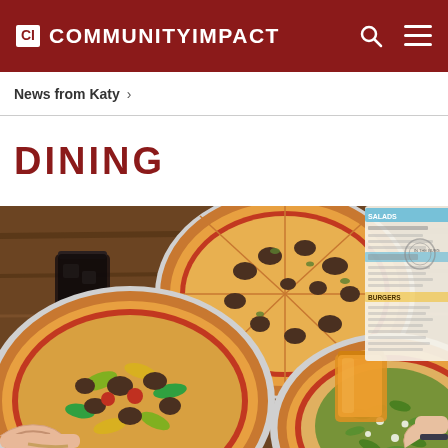CI COMMUNITY IMPACT
News from Katy >
DINING
[Figure (photo): Overhead view of three pizzas on a wooden table with drinks and a restaurant menu visible. Hands reaching in to grab pizza slices. Pizzas feature various toppings including mushrooms, peppers, and greens.]